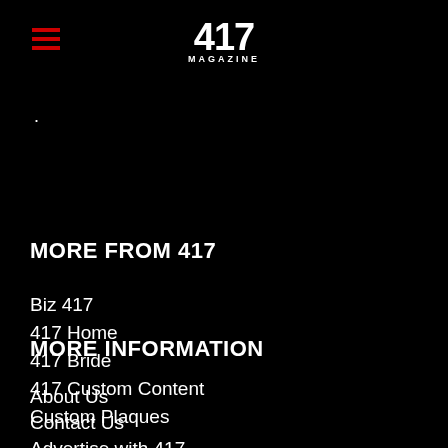417 MAGAZINE
MORE FROM 417
Biz 417
417 Home
417 Bride
417 Custom Content
Custom Plaques
MORE INFORMATION
About Us
Contact Us
Advertise with 417
Jobs & Internships
Privacy Policy